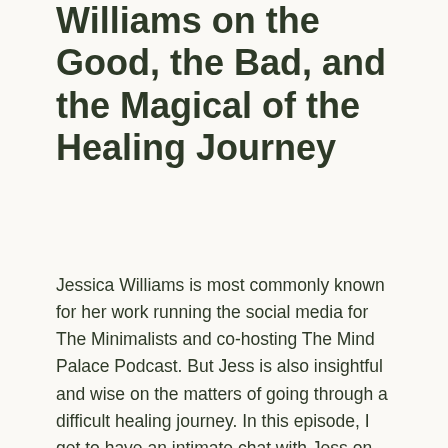Williams on the Good, the Bad, and the Magical of the Healing Journey
Jessica Williams is most commonly known for her work running the social media for The Minimalists and co-hosting The Mind Palace Podcast. But Jess is also insightful and wise on the matters of going through a difficult healing journey. In this episode, I get to have an intimate chat with Jess on not just working